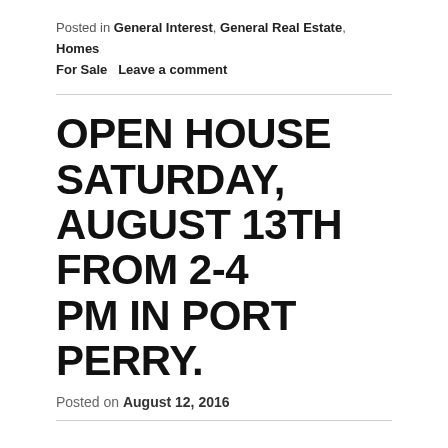Posted in General Interest, General Real Estate, Homes For Sale   Leave a comment
OPEN HOUSE SATURDAY, AUGUST 13TH FROM 2-4 PM IN PORT PERRY.
Posted on August 12, 2016
Join us this weekend at 15199 Simcoe Streer in Port Perry for an Open House from 2-4 pm on Saturday August 13th.  Virtual Tour: